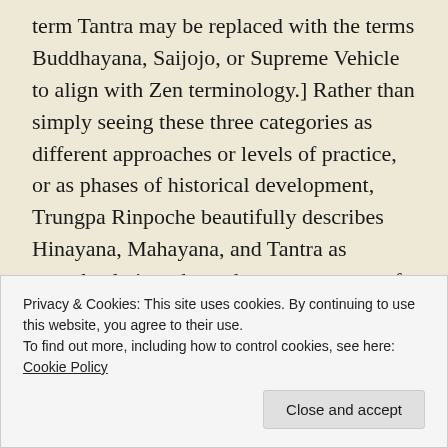term Tantra may be replaced with the terms Buddhayana, Saijojo, or Supreme Vehicle to align with Zen terminology.] Rather than simply seeing these three categories as different approaches or levels of practice, or as phases of historical development, Trungpa Rinpoche beautifully describes Hinayana, Mahayana, and Tantra as completely interdependent components of practice, comparing them to the foundation, walls, and roof of a building. From this view, wellrounded practice includes all three paths: the path of individual liberation (Hinayana), the bodhisattv...
Privacy & Cookies: This site uses cookies. By continuing to use this website, you agree to their use.
To find out more, including how to control cookies, see here: Cookie Policy